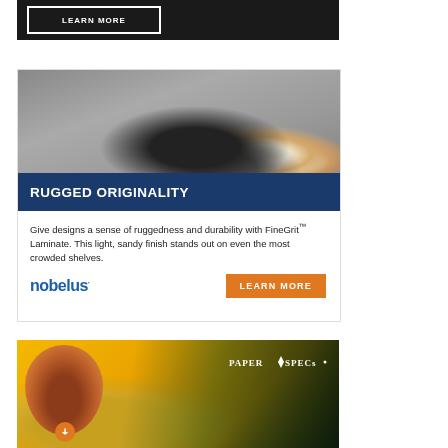[Figure (photo): Dark advertisement banner (cropped at top) with a 'LEARN MORE' button outlined in white on a dark/black background.]
[Figure (photo): Nobelus FineGrit Laminate advertisement. Top half shows a black-and-white photo of a smooth stone in sand with two rolls of white laminate material visible at right. Bottom half on navy blue banner reads 'RUGGED ORIGINALITY'. Below banner: body text, Nobelus logo in blue, and orange 'LEARN MORE' button.]
Give designs a sense of ruggedness and durability with FineGrit™ Laminate. This light, sandy finish stands out on even the most crowded shelves.
[Figure (photo): PaperSpecs advertisement. Colorful tropical background (yellows, greens, black) with a woman's face surrounded by flowers in a golden circle on the left, and the PaperSpecs logo (white text with flame/leaf icon) in the upper right.]